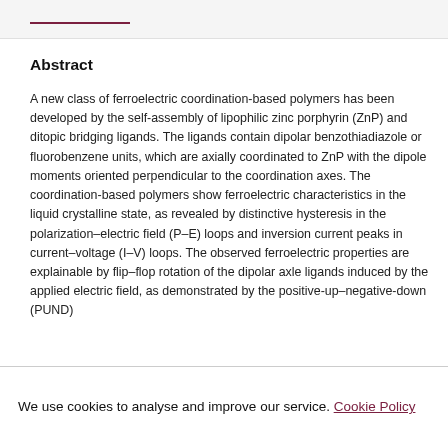Abstract
A new class of ferroelectric coordination-based polymers has been developed by the self-assembly of lipophilic zinc porphyrin (ZnP) and ditopic bridging ligands. The ligands contain dipolar benzothiadiazole or fluorobenzene units, which are axially coordinated to ZnP with the dipole moments oriented perpendicular to the coordination axes. The coordination-based polymers show ferroelectric characteristics in the liquid crystalline state, as revealed by distinctive hysteresis in the polarization–electric field (P–E) loops and inversion current peaks in current–voltage (I–V) loops. The observed ferroelectric properties are explainable by flip–flop rotation of the dipolar axle ligands induced by the applied electric field, as demonstrated by the positive-up–negative-down (PUND)
We use cookies to analyse and improve our service. Cookie Policy